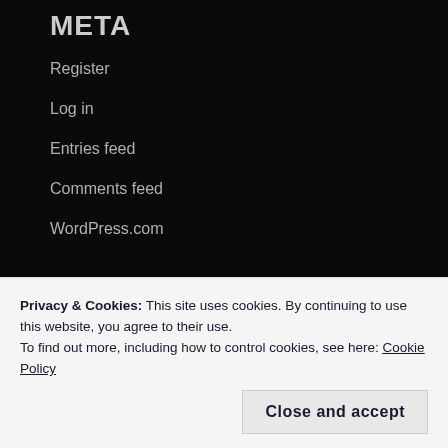META
Register
Log in
Entries feed
Comments feed
WordPress.com
Advertisements
[Figure (screenshot): Advertisement banner showing 'WORKS ON THE APP TOO!' on the left and '$39.99 a year' pricing on the right, on a light blue sky background.]
Privacy & Cookies: This site uses cookies. By continuing to use this website, you agree to their use.
To find out more, including how to control cookies, see here: Cookie Policy
Close and accept